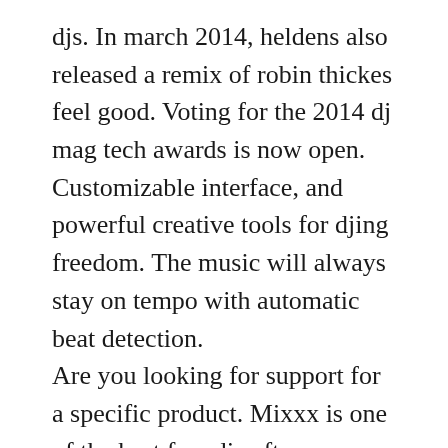djs. In march 2014, heldens also released a remix of robin thickes feel good. Voting for the 2014 dj mag tech awards is now open. Customizable interface, and powerful creative tools for djing freedom. The music will always stay on tempo with automatic beat detection.
Are you looking for support for a specific product. Mixxx is one of the best free dj software you can find in terms of features available as a free edition. Mixing in key is one of the best ways to create a smooth mix